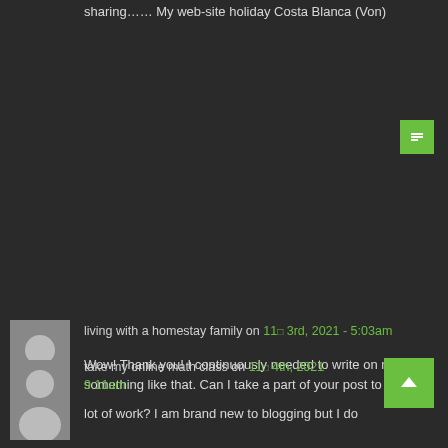sharing…… My web-site holiday Costa Blanca (Von)
[Figure (other): Reply button icon (green square with paragraph/lines icon)]
[Figure (photo): Default user avatar grey silhouette]
living with a homestay family on 11□ 3rd, 2021 - 5:03am
Wow! Thank you! I continuously needed to write on my blog something like that. Can I take a part of your post to my site?
[Figure (other): Reply button icon (green square with paragraph/lines icon)]
[Figure (photo): Default user avatar grey silhouette]
take my online math class on 11□ 4th, 2021 9:11am
lot of work? I am brand new to blogging but I do